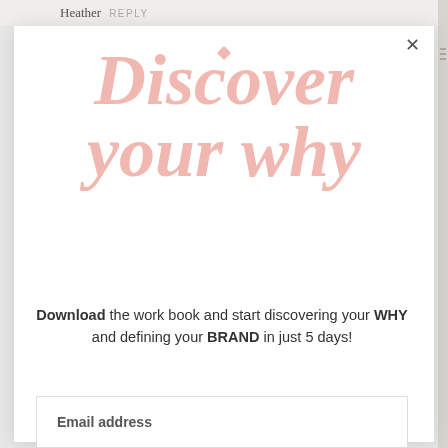Heather  REPLY
Discover your why
Download the work book and start discovering your WHY and defining your BRAND in just 5 days!
Email address
Subscribe